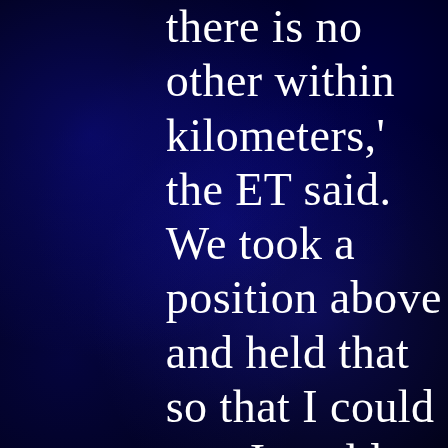there is no other within kilometers,' the ET said. We took a position above and held that so that I could see. I could see through an electronic apparatus which they